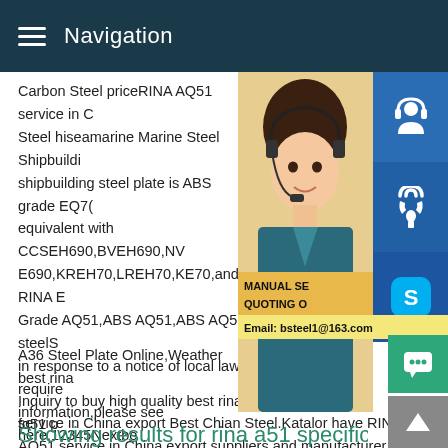Navigation
Carbon Steel priceRINA AQ51 service in C Steel hiseamarine Marine Steel Shipbuildi shipbuilding steel plate is ABS grade EQ70 equivalent with CCSEH690,BVEH690,NV E690,KREH70,LREH70,KE70,and RINA E Grade AQ51,ABS AQ51,ABS AQ51 steelS in response to a notice of local law require information,please see here.12345Nextbe A36 Steel Plate Online,Weather best rina Inquiry to buy high quality best rina fq51 p service in China export Best Chian Steel.Katalor have RINA AQ51 service in China export suppliers and manufacturer ,if you need RINA AQ51 service in China export price and specification ,ple contact us.lower cost but the best service.
[Figure (photo): Woman with headset customer service representative photo with blue icons on right side and contact overlay]
Showing results for rina a51 specifications.N